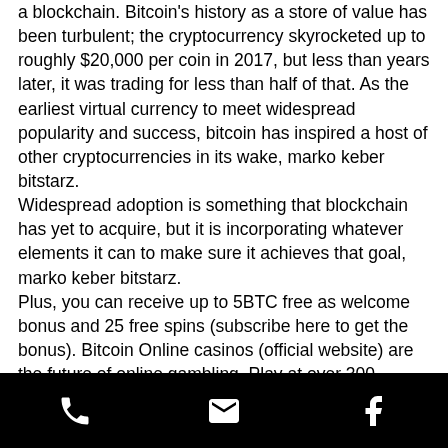a blockchain. Bitcoin's history as a store of value has been turbulent; the cryptocurrency skyrocketed up to roughly $20,000 per coin in 2017, but less than years later, it was trading for less than half of that. As the earliest virtual currency to meet widespread popularity and success, bitcoin has inspired a host of other cryptocurrencies in its wake, marko keber bitstarz. Widespread adoption is something that blockchain has yet to acquire, but it is incorporating whatever elements it can to make sure it achieves that goal, marko keber bitstarz. Plus, you can receive up to 5BTC free as welcome bonus and 25 free spins (subscribe here to get the bonus). Bitcoin Online casinos (official website) are the future of online gambling. Play at over 300 games, including classic roulette, blackjack and slot
[phone] [email] [facebook]